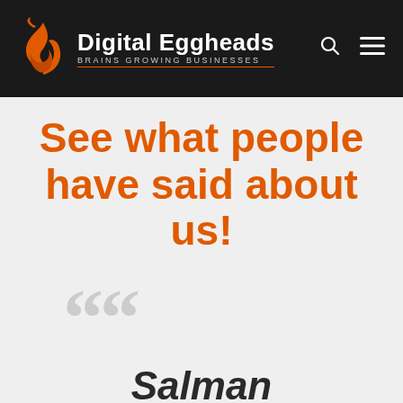[Figure (logo): Digital Eggheads logo — orange swirl icon with white text 'Digital Eggheads' and tagline 'BRAINS GROWING BUSINESSES' on dark background nav bar]
See what people have said about us!
““
Salman Hadwani